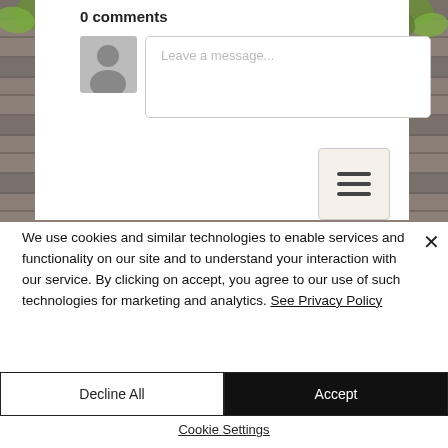[Figure (screenshot): Screenshot of a website comments section showing '0 comments' heading, an avatar placeholder, a 'Leave a message...' text input field, and a hamburger menu button, all overlaid on a wooden board background with scattered autumn leaves.]
We use cookies and similar technologies to enable services and functionality on our site and to understand your interaction with our service. By clicking on accept, you agree to our use of such technologies for marketing and analytics. See Privacy Policy
Decline All
Accept
Cookie Settings